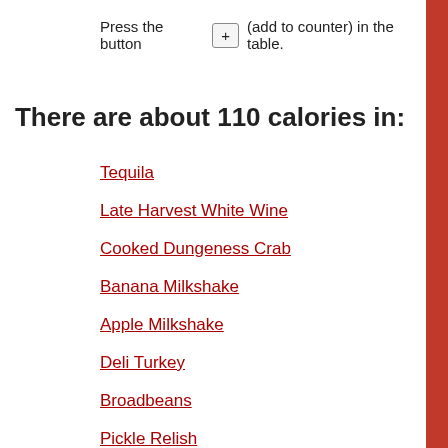Press the button + (add to counter) in the table.
There are about 110 calories in:
Tequila
Late Harvest White Wine
Cooked Dungeness Crab
Banana Milkshake
Apple Milkshake
Deli Turkey
Broadbeans
Pickle Relish
Cooked Shrimp